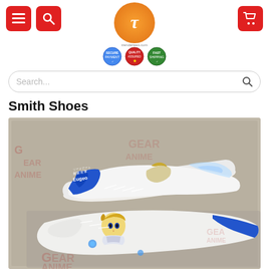Navigation header with menu, search, cart buttons and site logo
Search...
Smith Shoes
[Figure (photo): Custom anime-themed Stan Smith style sneakers featuring blue and white colorway with manga/anime character artwork printed on the sides, shown in a box with GEAR ANIME branding. Two shoes visible: one showing the side profile with blue heel and anime text, another showing the top/tongue area with a blonde anime character in armor.]